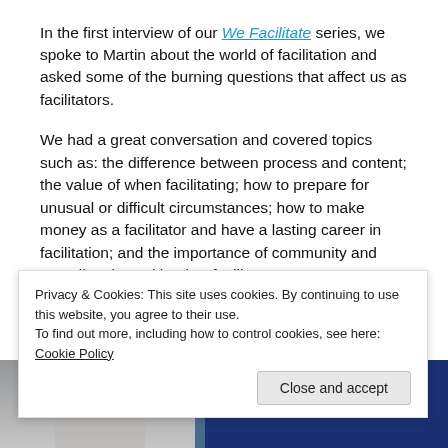In the first interview of our We Facilitate series, we spoke to Martin about the world of facilitation and asked some of the burning questions that affect us as facilitators.
We had a great conversation and covered topics such as: the difference between process and content; the value of when facilitating; how to prepare for unusual or difficult circumstances; how to make money as a facilitator and have a lasting career in facilitation; and the importance of community and spending time with other facilitators.
[Figure (photo): Partial image strip showing a person and blue background, visible at the bottom of the page]
Privacy & Cookies: This site uses cookies. By continuing to use this website, you agree to their use.
To find out more, including how to control cookies, see here: Cookie Policy
Close and accept